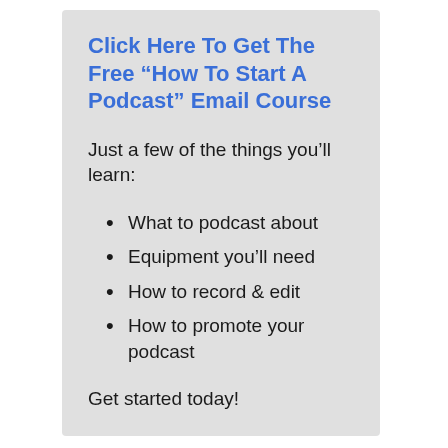Click Here To Get The Free “How To Start A Podcast” Email Course
Just a few of the things you’ll learn:
What to podcast about
Equipment you’ll need
How to record & edit
How to promote your podcast
Get started today!